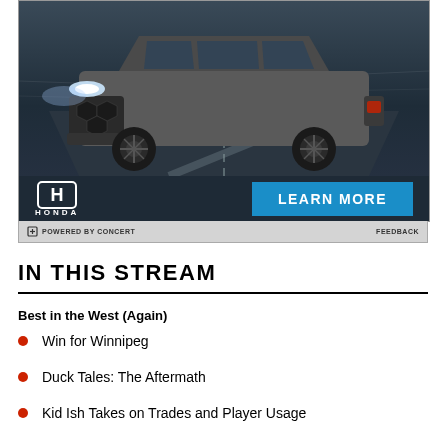[Figure (photo): Honda SUV advertisement showing a dark gray Honda CR-V on a road at night with headlights on, Honda logo and LEARN MORE button overlay]
POWERED BY CONCERT   FEEDBACK
IN THIS STREAM
Best in the West (Again)
Win for Winnipeg
Duck Tales: The Aftermath
Kid Ish Takes on Trades and Player Usage